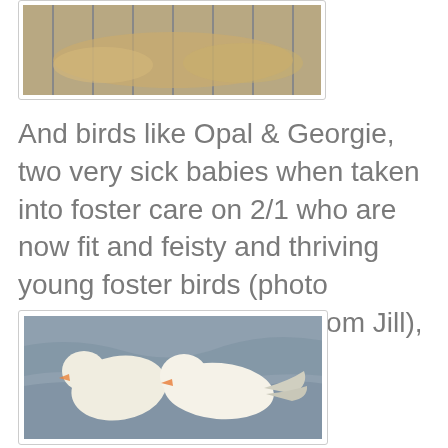[Figure (photo): Partial view of a bird cage or feeding area with grain/food visible, photo cropped at top]
And birds like Opal & Georgie, two very sick babies when taken into foster care on 2/1 who are now fit and feisty and thriving young foster birds (photo courtesy of their foster mom Jill), still need our help.
[Figure (photo): Two white birds (doves or similar) resting together on a gray fabric background]